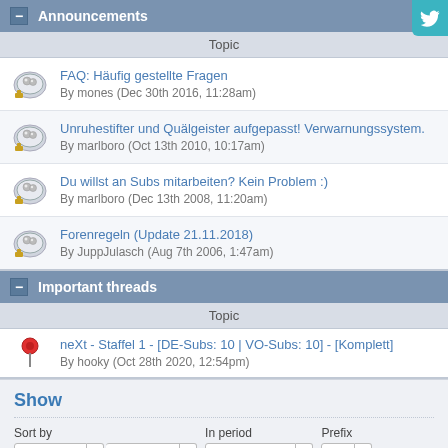Announcements
Topic
FAQ: Häufig gestellte Fragen
By mones (Dec 30th 2016, 11:28am)
Unruhestifter und Quälgeister aufgepasst! Verwarnungssystem.
By marlboro (Oct 13th 2010, 10:17am)
Du willst an Subs mitarbeiten? Kein Problem :)
By marlboro (Dec 13th 2008, 11:20am)
Forenregeln (Update 21.11.2018)
By JuppJulasch (Aug 7th 2006, 1:47am)
Important threads
Topic
neXt - Staffel 1 - [DE-Subs: 10 | VO-Subs: 10] - [Komplett]
By hooky (Oct 28th 2020, 12:54pm)
Show
Sort by
Latest post descending
In period
from any date
Prefix